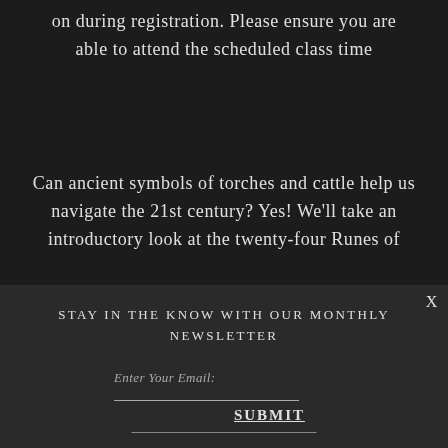on during registration. Please ensure you are able to attend the scheduled class time
Can ancient symbols of torches and cattle help us navigate the 21st century? Yes! We’ll take an introductory look at the twenty-four Runes of
STAY IN THE KNOW WITH OUR MONTHLY NEWSLETTER
X
Enter Your Email:
SUBMIT